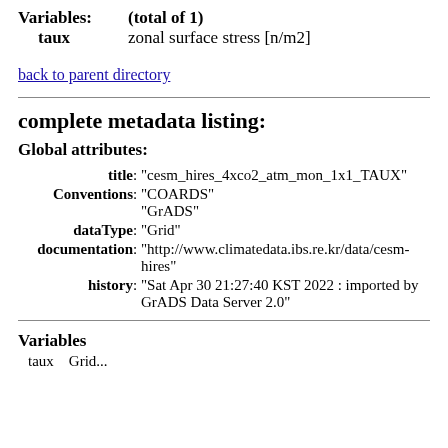Variables: (total of 1)
    taux    zonal surface stress [n/m2]
back to parent directory
complete metadata listing:
Global attributes:
title: "cesm_hires_4xco2_atm_mon_1x1_TAUX"
Conventions: "COARDS"
              "GrADS"
dataType: "Grid"
documentation: "http://www.climatedata.ibs.re.kr/data/cesm-hires"
history: "Sat Apr 30 21:27:40 KST 2022 : imported by GrADS Data Server 2.0"
Variables
taux    Grid...